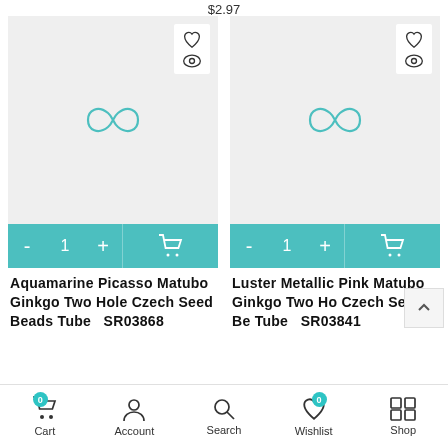$2.97
[Figure (screenshot): Product card for Aquamarine Picasso Matubo Ginkgo Two Hole Czech Seed Beads Tube SR03868 with teal add-to-cart bar showing quantity controls and cart icon]
[Figure (screenshot): Product card for Luster Metallic Pink Matubo Ginkgo Two Hole Czech Seed Beads Tube SR03841 with teal add-to-cart bar showing quantity controls and cart icon]
Aquamarine Picasso Matubo Ginkgo Two Hole Czech Seed Beads Tube   SR03868
Luster Metallic Pink Matubo Ginkgo Two Ho Czech Seed Be Tube   SR03841
Cart  Account  Search  Wishlist  Shop